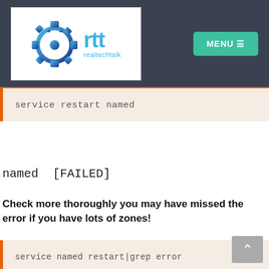[Figure (logo): realtechtalk logo with gear/circuit icon and 'rtt realtechtalk' text in blue]
MENU ☰
service restart named
named  [FAILED]
Check more thoroughly you may have missed the error if you have lots of zones!
service named restart|grep error